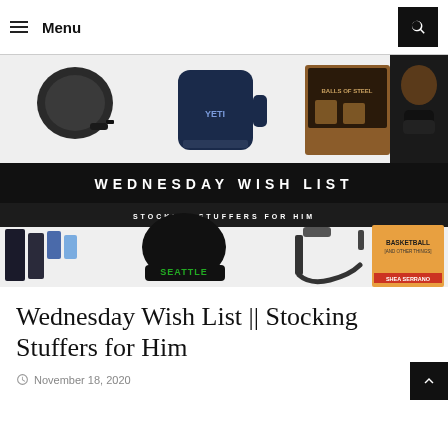Menu
[Figure (photo): Collage banner showing stocking stuffer products: Chromecast device, YETI mug, Balls of Steel whiskey stones, face mask with man, Jack Black grooming set, Seattle beanie hat, multi-charging cable, Basketball (and other things) book. Overlaid with 'WEDNESDAY WISH LIST' and 'STOCKING STUFFERS FOR HIM' text bars.]
Wednesday Wish List || Stocking Stuffers for Him
November 18, 2020